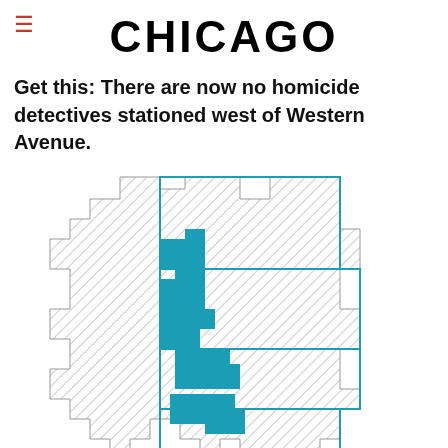CHICAGO
Get this: There are now no homicide detectives stationed west of Western Avenue.
[Figure (map): Map of Chicago showing districts west of Western Avenue highlighted in teal/cyan, with a hatched gray pattern covering the city outline. Several rectangular teal blocks indicate areas without homicide detectives, connected by teal boundary lines.]